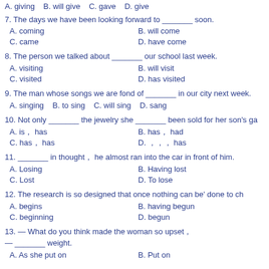A. giving  B. will give  C. gave  D. give
7. The days we have been looking forward to _______ soon.
A. coming  B. will come
C. came  D. have come
8. The person we talked about _______ our school last week.
A. visiting  B. will visit
C. visited  D. has visited
9. The man whose songs we are fond of _______ in our city next week.
A. singing  B. to sing  C. will sing  D. sang
10. Not only _______ the jewelry she _______ been sold for her son's ga...
A. is, has  B. has, had
C. has, has  D. ..., has
11. _______ in thought, he almost ran into the car in front of him.
A. Losing  B. Having lost
C. Lost  D. To lose
12. The research is so designed that once nothing can be' done to ch...
A. begins  B. having begun
C. beginning  D. begun
13. — What do you think made the woman so upset?
— _______ weight.
A. As she put on  B. Put on